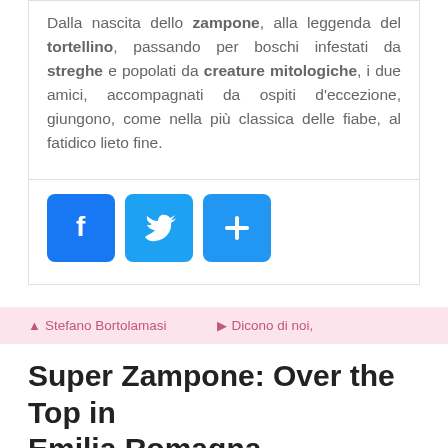Dalla nascita dello zampone, alla leggenda del tortellino, passando per boschi infestati da streghe e popolati da creature mitologiche, i due amici, accompagnati da ospiti d'eccezione, giungono, come nella più classica delle fiabe, al fatidico lieto fine.
[Figure (other): Three social sharing buttons: Facebook (blue f icon), Twitter (blue bird icon), and a blue share/add button with plus icon]
Stefano Bortolamasi   Dicono di noi,
Super Zampone: Over the Top in Emilia Romagna
[Figure (photo): Banner image showing 'Anita's Feast' text on black background with food imagery on both sides]